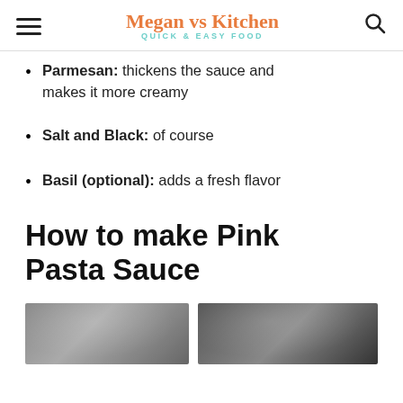Megan vs Kitchen — QUICK & EASY FOOD
Parmesan: thickens the sauce and makes it more creamy
Salt and Black: of course
Basil (optional): adds a fresh flavor
How to make Pink Pasta Sauce
[Figure (photo): Two cooking pan photos side by side, partially visible at the bottom of the page]